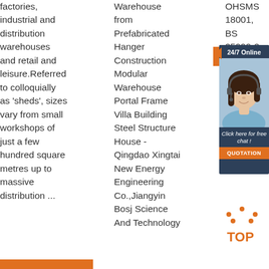factories, industrial and distribution warehouses and retail and leisure.Referred to colloquially as 'sheds', sizes vary from small workshops of just a few hundred square metres up to massive distribution ...
Warehouse from Prefabricated Hanger Construction Modular Warehouse Portal Frame Villa Building Steel Structure House - Qingdao Xingtai New Energy Engineering Co.,Jiangyin Bosj Science And Technology
OHSMS 18001, BS 25999-2
[Figure (infographic): 24/7 Online chat widget with woman wearing headset, dark navy background, orange accent tab, 'Click here for free chat!' text and orange QUOTATION button]
[Figure (illustration): TOP button with orange dotted triangle/hat icon above the text TOP in orange]